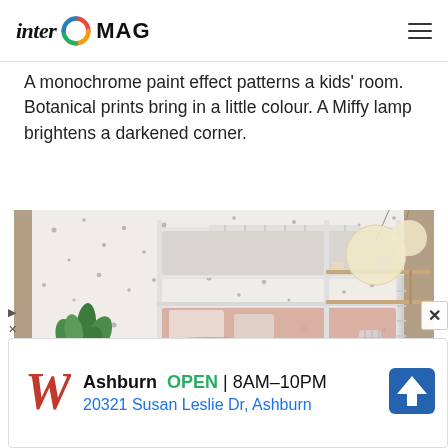inter MAG
A monochrome paint effect patterns a kids' room. Botanical prints bring in a little colour. A Miffy lamp brightens a darkened corner.
[Figure (photo): A kids' bedroom with a white metal bunk bed against a speckled monochrome painted wall. A large green plant sits in the corner. Shelves with toys and decorations are on the right. Pendant globe lamps hang from the ceiling. A colorful area rug is on the floor, and a small white table with a chair is visible on the right side.]
[Figure (infographic): Advertisement for Walgreens: Ashburn OPEN 8AM-10PM, 20321 Susan Leslie Dr, Ashburn. Shows Walgreens logo (stylized red W), green OPEN text, and a blue navigation arrow icon.]